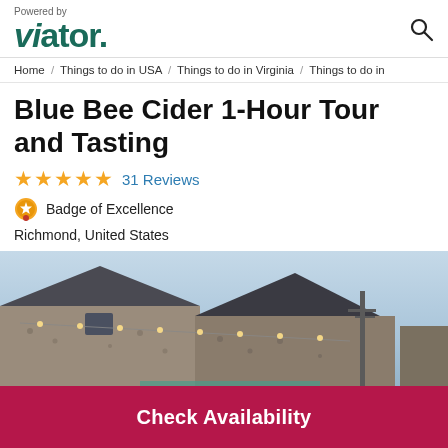Powered by viator.
Home / Things to do in USA / Things to do in Virginia / Things to do in
Blue Bee Cider 1-Hour Tour and Tasting
★★★★★ 31 Reviews
Badge of Excellence
Richmond, United States
[Figure (photo): Exterior photo of a stone building with string lights and a dark roof against a dusk sky]
Check Availability